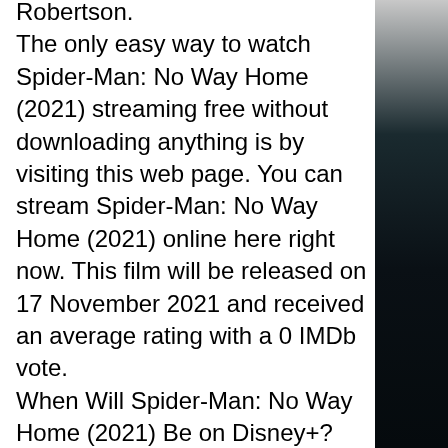Robertson.
The only easy way to watch Spider-Man: No Way Home (2021) streaming free without downloading anything is by visiting this web page. You can stream Spider-Man: No Way Home (2021) online here right now. This film will be released on 17 November 2021 and received an average rating with a 0 IMDb vote.
When Will Spider-Man: No Way Home (2021) Be on Disney+?
Tobey Maguire as Peter Parker / Spider-Man: No Way Home (2021)
Andrew Garfield as Peter Parker / Spider-Man: No Way Home (2021)
Zendaya as MJ: Parker's classmate and girlfriend
Benedict Cumberbatch as Dr. Stephen Strange
Jacob Batalon as Ned Leeds
Jon Favreau as Harold “Happy” Hogan
Marisa Tomei as May Parker